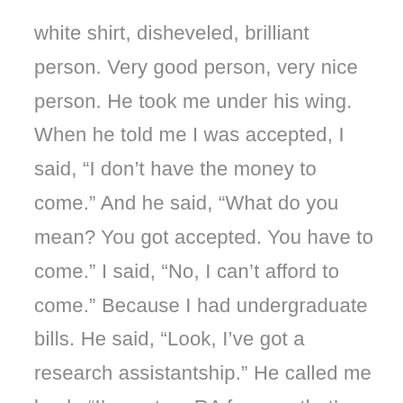white shirt, disheveled, brilliant person. Very good person, very nice person. He took me under his wing. When he told me I was accepted, I said, “I don’t have the money to come.” And he said, “What do you mean? You got accepted. You have to come.” I said, “No, I can’t afford to come.” Because I had undergraduate bills. He said, “Look, I’ve got a research assistantship.” He called me back. “I’ve got an RA for you, that’s half the tuition and a little stipend.” And I said, “OK. I’ve got to find the other half.” He called me back and said, “OK, I have a half RA and a half TA, that’s